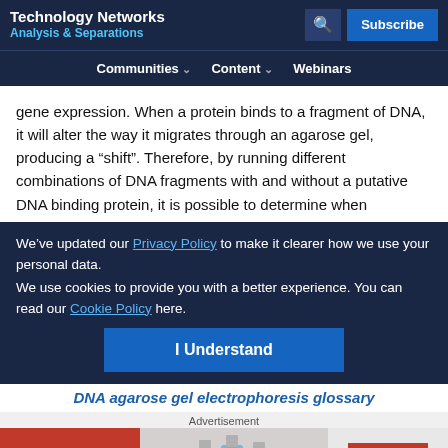Technology Networks | Analysis & Separations
Communities | Content | Webinars
gene expression. When a protein binds to a fragment of DNA, it will alter the way it migrates through an agarose gel, producing a “shift”. Therefore, by running different combinations of DNA fragments with and without a putative DNA binding protein, it is possible to determine when
We’ve updated our Privacy Policy to make it clearer how we use your personal data.
We use cookies to provide you with a better experience. You can read our Cookie Policy here.
I Understand
DNA agarose gel electrophoresis glossary
Advertisement
[Figure (other): ThermoFisher Scientific advertisement banner with lab flasks and Learn more button]